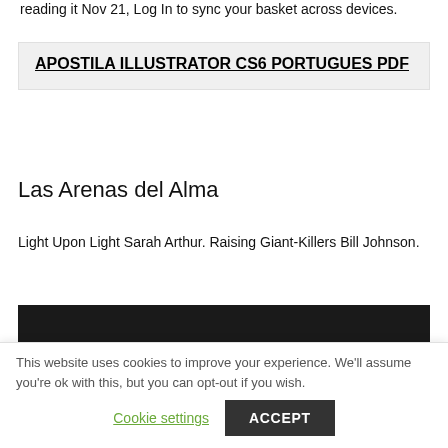reading it Nov 21, Log In to sync your basket across devices.
APOSTILA ILLUSTRATOR CS6 PORTUGUES PDF
Las Arenas del Alma
Light Upon Light Sarah Arthur. Raising Giant-Killers Bill Johnson.
[Figure (photo): Dark/black image area]
This website uses cookies to improve your experience. We'll assume you're ok with this, but you can opt-out if you wish.